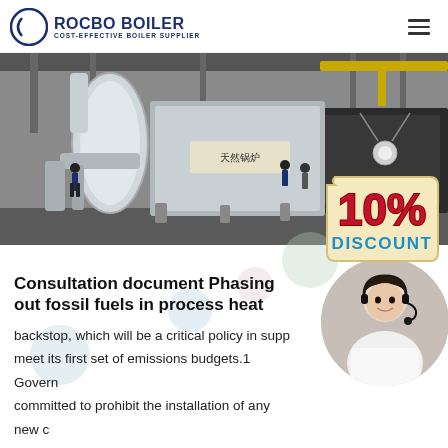ROCBO BOILER – COST-EFFECTIVE BOILER SUPPLIER
[Figure (photo): Industrial boiler installation in a large factory hall with a '10% DISCOUNT' badge overlay]
Consultation document Phasing out fossil fuels in process heat
backstop, which will be a critical policy in supp... meet its first set of emissions budgets.1 Govern... committed to prohibit the installation of any new c... for low and medium temperature process heat. The proposals in...